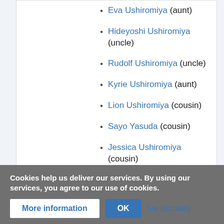Eva Ushiromiya (aunt)
Hideyoshi Ushiromiya (uncle)
Rudolf Ushiromiya (uncle)
Kyrie Ushiromiya (aunt)
Lion Ushiromiya (cousin)
Sayo Yasuda (cousin)
Jessica Ushiromiya (cousin)
George Ushiromiya (cousin)
(cousin)
iya (cousin)
Cookies help us deliver our services. By using our services, you agree to our use of cookies.
More information  OK